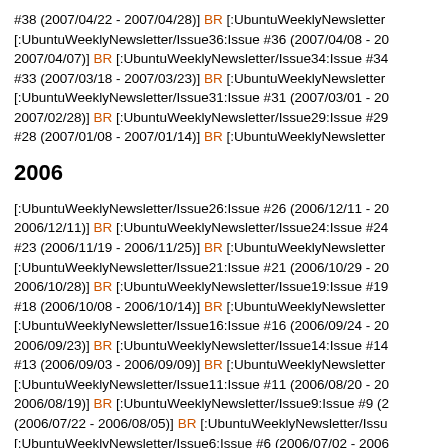#38 (2007/04/22 - 2007/04/28)] BR [:UbuntuWeeklyNewsletter [:UbuntuWeeklyNewsletter/Issue36:Issue #36 (2007/04/08 - 2007/04/07)] BR [:UbuntuWeeklyNewsletter/Issue34:Issue #34 #33 (2007/03/18 - 2007/03/23)] BR [:UbuntuWeeklyNewsletter [:UbuntuWeeklyNewsletter/Issue31:Issue #31 (2007/03/01 - 2007/02/28)] BR [:UbuntuWeeklyNewsletter/Issue29:Issue #29 #28 (2007/01/08 - 2007/01/14)] BR [:UbuntuWeeklyNewsletter
2006
[:UbuntuWeeklyNewsletter/Issue26:Issue #26 (2006/12/11 - 2006/12/11)] BR [:UbuntuWeeklyNewsletter/Issue24:Issue #24 #23 (2006/11/19 - 2006/11/25)] BR [:UbuntuWeeklyNewsletter [:UbuntuWeeklyNewsletter/Issue21:Issue #21 (2006/10/29 - 2006/10/28)] BR [:UbuntuWeeklyNewsletter/Issue19:Issue #19 #18 (2006/10/08 - 2006/10/14)] BR [:UbuntuWeeklyNewsletter [:UbuntuWeeklyNewsletter/Issue16:Issue #16 (2006/09/24 - 2006/09/23)] BR [:UbuntuWeeklyNewsletter/Issue14:Issue #14 #13 (2006/09/03 - 2006/09/09)] BR [:UbuntuWeeklyNewsletter [:UbuntuWeeklyNewsletter/Issue11:Issue #11 (2006/08/20 - 2006/08/19)] BR [:UbuntuWeeklyNewsletter/Issue9:Issue #9 (2006/07/22 - 2006/08/05)] BR [:UbuntuWeeklyNewsletter/Issu [:UbuntuWeeklyNewsletter/Issue6:Issue #6 (2006/07/02 - 2006/07/01)] BR [:UbuntuWeeklyNewsletter/Issue4:Issue #4